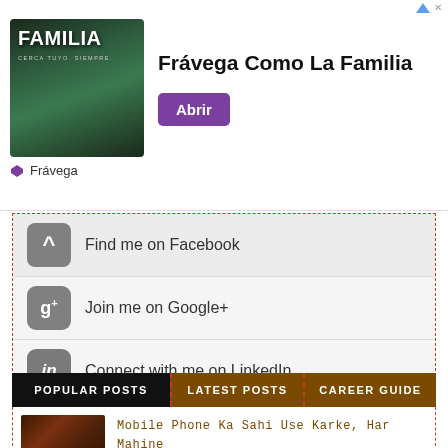[Figure (illustration): Advertisement banner for Frávega Como La Familia with group photo background, Abrir button]
Find me on Facebook
Join me on Google+
Connect with me on LinkedIn
Watch me on YouTube
POPULAR POSTS  LATEST POSTS  CAREER GUIDE
Mobile Phone Ka Sahi Use Karke, Har Mahine 20,000+ Income Kaise Kare